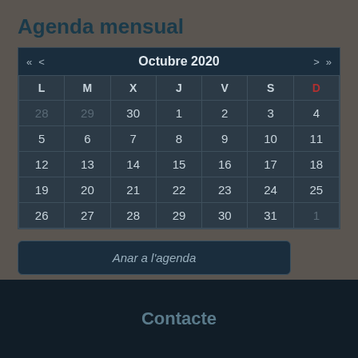Agenda mensual
| L | M | X | J | V | S | D |
| --- | --- | --- | --- | --- | --- | --- |
| 28 | 29 | 30 | 1 | 2 | 3 | 4 |
| 5 | 6 | 7 | 8 | 9 | 10 | 11 |
| 12 | 13 | 14 | 15 | 16 | 17 | 18 |
| 19 | 20 | 21 | 22 | 23 | 24 | 25 |
| 26 | 27 | 28 | 29 | 30 | 31 | 1 |
Anar a l'agenda
Contacte